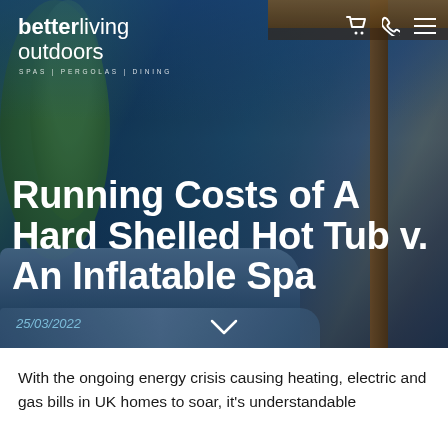[Figure (photo): Hero image of a hot tub / spa on an outdoor patio under a wooden pergola, with trees in background. Website header for Better Living Outdoors.]
better living outdoors — SPAS | PERGOLAS | DINING
Running Costs of A Hard Shelled Hot Tub v. An Inflatable Spa
25/03/2022
With the ongoing energy crisis causing heating, electric and gas bills in UK homes to soar, it's understandable